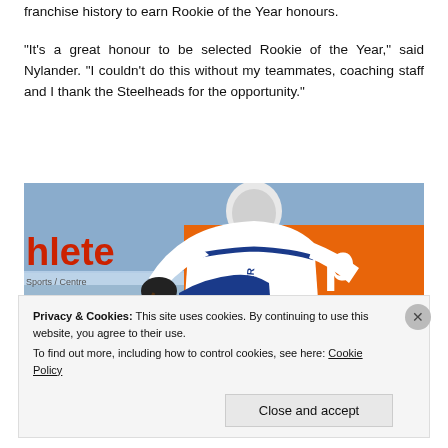franchise history to earn Rookie of the Year honours.
“It’s a great honour to be selected Rookie of the Year,” said Nylander. “I couldn’t do this without my teammates, coaching staff and I thank the Steelheads for the opportunity.”
[Figure (photo): Hockey player wearing white jersey with NYLANDER on the back (number 92) in action on the ice rink. Orange Pizza banner visible in background on the right. Red 'hlete' and 'eazone' text visible on the left side boards.]
Privacy & Cookies: This site uses cookies. By continuing to use this website, you agree to their use.
To find out more, including how to control cookies, see here: Cookie Policy